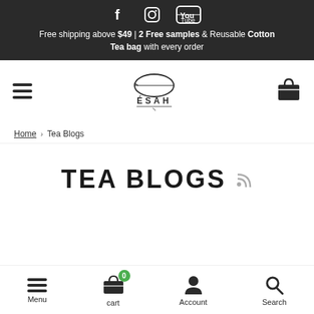Free shipping above $49 | 2 Free samples & Reusable Cotton Tea bag with every order
[Figure (logo): ESAH brand logo with leaf icon]
Home › Tea Blogs
TEA BLOGS
Menu | cart 0 | Account | Search